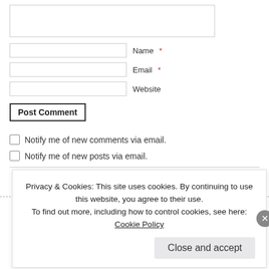[Figure (screenshot): Web comment form with Name, Email, Website fields, Post Comment button, and two notification checkboxes]
Notify me of new comments via email.
Notify me of new posts via email.
Privacy & Cookies: This site uses cookies. By continuing to use this website, you agree to their use. To find out more, including how to control cookies, see here: Cookie Policy
Close and accept